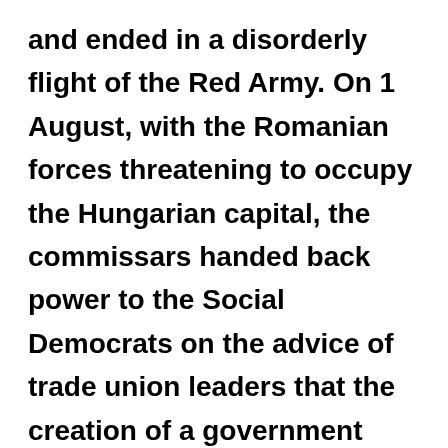and ended in a disorderly flight of the Red Army. On 1 August, with the Romanian forces threatening to occupy the Hungarian capital, the commissars handed back power to the Social Democrats on the advice of trade union leaders that the creation of a government acceptable to the Entente powers was the only way to avoid complete foreign occupation. The next day, a government